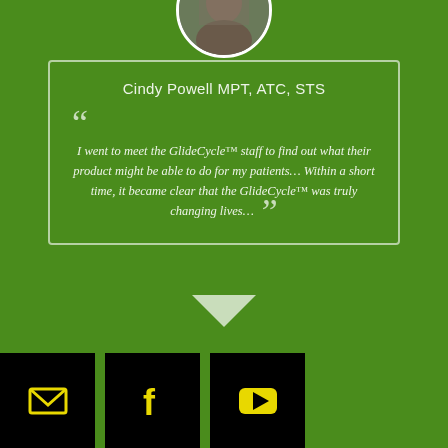[Figure (photo): Circular profile photo of a person, partially visible at top of page]
Cindy Powell MPT, ATC, STS
I went to meet the GlideCycle™ staff to find out what their product might be able to do for my patients… Within a short time, it became clear that the GlideCycle™ was truly changing lives…
[Figure (infographic): Three social media icon buttons (email envelope, Facebook f, YouTube play button) in yellow on black squares at the bottom of the page]